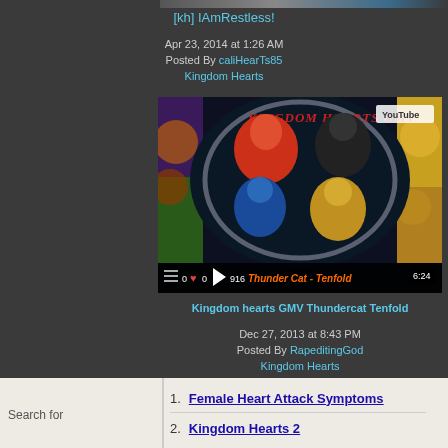[kh] IAmRestless!
Apr 23, 2014 at 1:26 AM
Posted By caliHearTs85
Kingdom Hearts
[Figure (screenshot): YouTube video thumbnail for 'Kingdom Hearts GMV Thundercat Tenfold' showing animated characters in a circular arrangement with orange title text 'Thunder Cat - Tenfold' and video controls showing 6:24 duration and 916 views]
Kingdom hearts GMV Thundercat Tenfold
Dec 27, 2013 at 8:43 PM
Posted By RapeditingGod
Kingdom Hearts
Search for
1. Female Heart Attack Symptoms
2. Kingdom Hearts 2